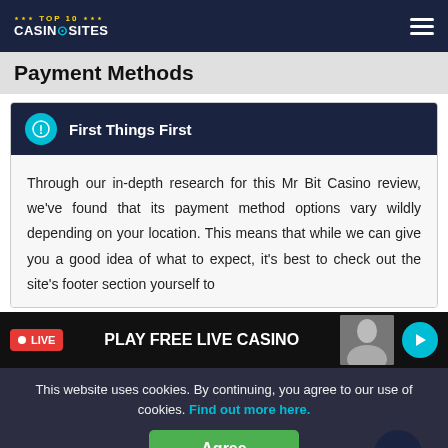TOP 10 CASINOSITES — navigation header
Payment Methods
First Things First
Through our in-depth research for this Mr Bit Casino review, we've found that its payment method options vary wildly depending on your location. This means that while we can give you a good idea of what to expect, it's best to check out the site's footer section yourself to
LIVE  PLAY FREE LIVE CASINO →
This website uses cookies. By continuing, you agree to our use of cookies. Find out more here.
Agree